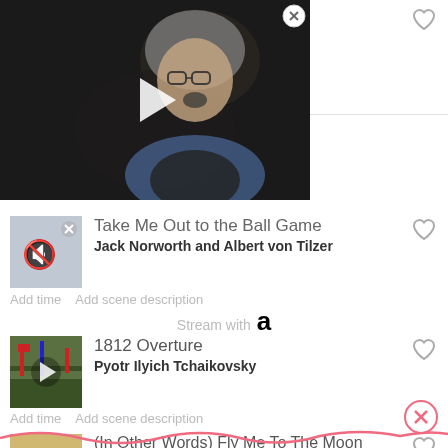Romantic Expectation
[Figure (photo): Video thumbnail showing a person with gray hair and glasses, dark background, with play button overlay]
Stream with [Spotify] [Apple Music] [Amazon] [YouTube]
Take Me Out to the Ball Game
Jack Norworth and Albert von Tilzer
Add time  Add scene description
Stream with [Amazon]
1812 Overture
Pyotr Ilyich Tchaikovsky
Add time  Add scene description
Stream with [Spotify] [Amazon]
(In Other Words) Fly Me To The Moon
Astrud Gilberto
Add scene description